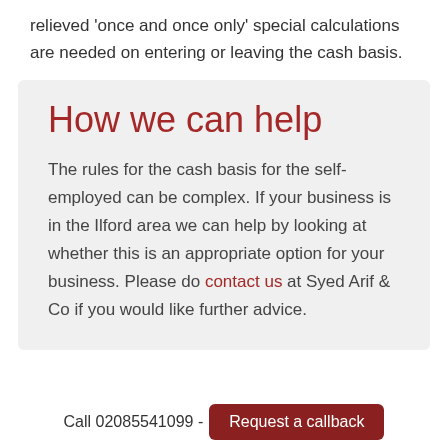relieved 'once and once only' special calculations are needed on entering or leaving the cash basis.
How we can help
The rules for the cash basis for the self-employed can be complex. If your business is in the Ilford area we can help by looking at whether this is an appropriate option for your business. Please do contact us at Syed Arif & Co if you would like further advice.
Call 02085541099 - Request a callback